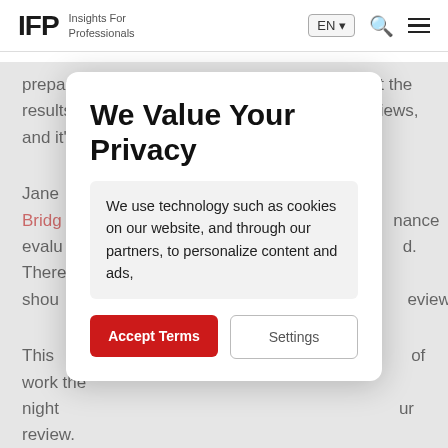IFP Insights For Professionals | EN | Search | Menu
preparation can be essential in ensuring you get the results you want. The same goes for annual reviews, and it's never too early to prepare for it.
Jane [partially obscured] of Bridg[e partially obscured] nance evalu[ation partially obscured] d. There shou[ld partially obscured] review."
This [partially obscured] of work the night [partially obscured] ur review. By re[partially obscured] eeping reco[rd partially obscured] ou have plent[y partially obscured] oals/ impr[ovement partially obscured]
Acco[partially obscured] ead and maki[ng partially obscured] points,
We Value Your Privacy
We use technology such as cookies on our website, and through our partners, to personalize content and ads,
Accept Terms
Settings